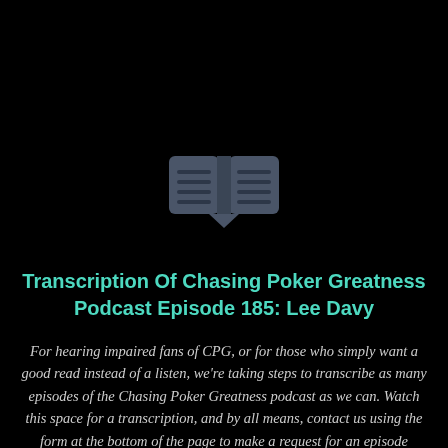[Figure (illustration): Open book icon with horizontal lines representing text on each page, rendered in dark gray/slate color on black background]
Transcription Of Chasing Poker Greatness Podcast Episode 185: Lee Davy
For hearing impaired fans of CPG, or for those who simply want a good read instead of a listen, we're taking steps to transcribe as many episodes of the Chasing Poker Greatness podcast as we can. Watch this space for a transcription, and by all means, contact us using the form at the bottom of the page to make a request for an episode transcription and we will do our best to push it to the front of